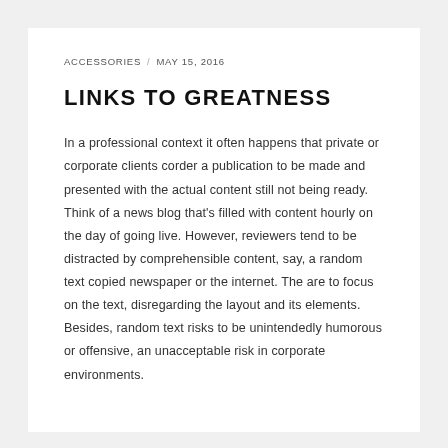ACCESSORIES / MAY 15, 2016
LINKS TO GREATNESS
In a professional context it often happens that private or corporate clients corder a publication to be made and presented with the actual content still not being ready. Think of a news blog that's filled with content hourly on the day of going live. However, reviewers tend to be distracted by comprehensible content, say, a random text copied newspaper or the internet. The are to focus on the text, disregarding the layout and its elements. Besides, random text risks to be unintendedly humorous or offensive, an unacceptable risk in corporate environments.